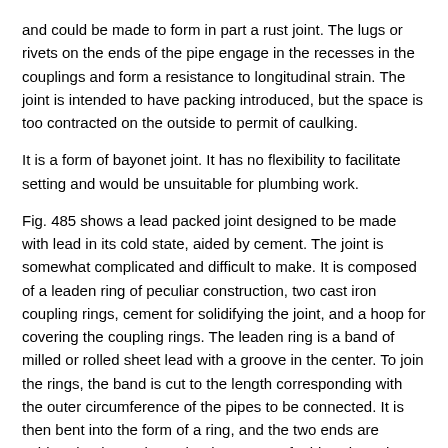and could be made to form in part a rust joint. The lugs or rivets on the ends of the pipe engage in the recesses in the couplings and form a resistance to longitudinal strain. The joint is intended to have packing introduced, but the space is too contracted on the outside to permit of caulking.
It is a form of bayonet joint. It has no flexibility to facilitate setting and would be unsuitable for plumbing work.
Fig. 485 shows a lead packed joint designed to be made with lead in its cold state, aided by cement. The joint is somewhat complicated and difficult to make. It is composed of a leaden ring of peculiar construction, two cast iron coupling rings, cement for solidifying the joint, and a hoop for covering the coupling rings. The leaden ring is a band of milled or rolled sheet lead with a groove in the center. To join the rings, the band is cut to the length corresponding with the outer circumference of the pipes to be connected. It is then bent into the form of a ring, and the two ends are soldered or burned together by means of a blowpipe. The ring is placed over the ends of the pipes and pressed tightly against it by light blows of a hammer, or by means of a metallic band with pincers, or by a cramp in such a manner that the lead is lifted to said...